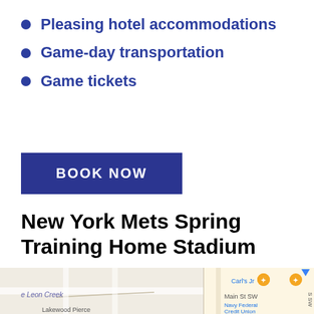Pleasing hotel accommodations
Game-day transportation
Game tickets
BOOK NOW
New York Mets Spring Training Home Stadium
[Figure (map): Street map showing area near Lakewood Pierce with Carl's Jr, Main St SW, and Navy Federal Credit Union markers visible]